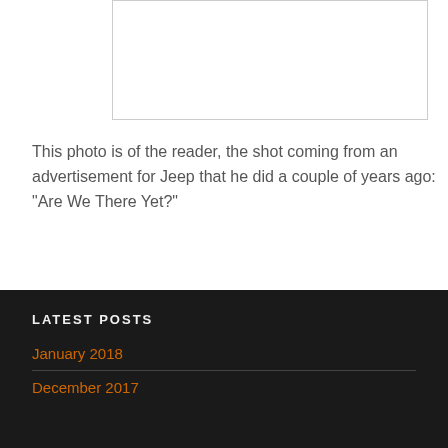[Figure (photo): Partial image placeholder at top of page, white background with light gray border]
This photo is of the reader, the shot coming from an advertisement for Jeep that he did a couple of years ago: “Are We There Yet?”
LATEST POSTS
January 2018
December 2017